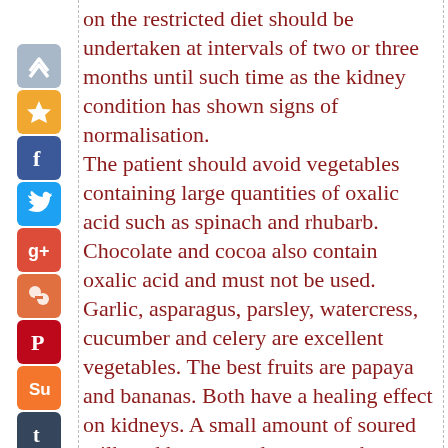on the restricted diet should be undertaken at intervals of two or three months until such time as the kidney condition has shown signs of normalisation. The patient should avoid vegetables containing large quantities of oxalic acid such as spinach and rhubarb. Chocolate and cocoa also contain oxalic acid and must not be used. Garlic, asparagus, parsley, watercress, cucumber and celery are excellent vegetables. The best fruits are papaya and bananas. Both have a healing effect on kidneys. A small amount of soured milk and home- made cottage cheese can be included in the diet. All salt should be eliminated from the diet. Five or six small meals should be taken in preference to a few large ones. A glassful of carrot juice mixed with tablespoonful of honey and a teaspoonful of fresh lime juice is a very effective home